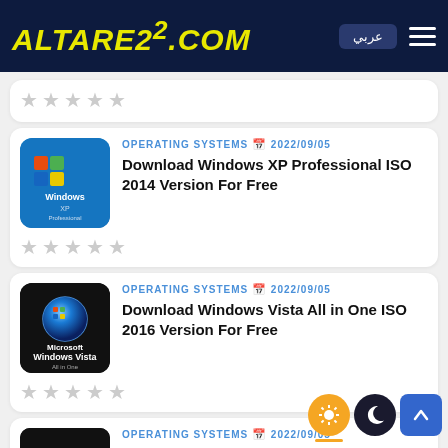ALTARE22.COM
OPERATING SYSTEMS 2022/09/05 - Download Windows XP Professional ISO 2014 Version For Free
OPERATING SYSTEMS 2022/09/05 - Download Windows Vista All in One ISO 2016 Version For Free
OPERATING SYSTEMS 2022/09/05